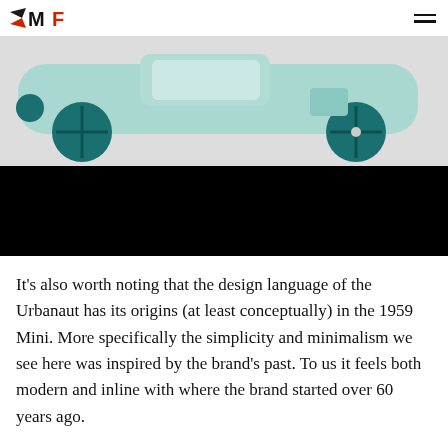MF (logo)
[Figure (photo): A side view of the Mini Urbanaut concept car model in mint/teal color with large dark teal wheels on a light grey background, overlaid with a black rectangular band at the bottom of the image.]
It's also worth noting that the design language of the Urbanaut has its origins (at least conceptually) in the 1959 Mini. More specifically the simplicity and minimalism we see here was inspired by the brand's past. To us it feels both modern and inline with where the brand started over 60 years ago.